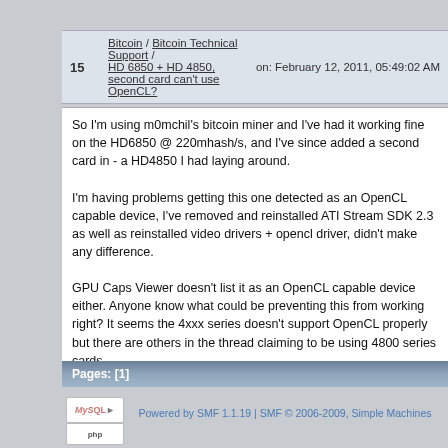15 Bitcoin / Bitcoin Technical Support / HD 6850 + HD 4850, second card can't use OpenCL? on: February 12, 2011, 05:49:02 AM
So I'm using m0mchil's bitcoin miner and I've had it working fine on the HD6850 @ 220mhash/s, and I've since added a second card in - a HD4850 I had laying around.

I'm having problems getting this one detected as an OpenCL capable device, I've removed and reinstalled ATI Stream SDK 2.3 as well as reinstalled video drivers + opencl driver, didn't make any difference.

GPU Caps Viewer doesn't list it as an OpenCL capable device either. Anyone know what could be preventing this from working right? It seems the 4xxx series doesn't support OpenCL properly but there are others in the thread claiming to be using 4800 series cards.
Pages: [1]
Powered by SMF 1.1.19 | SMF © 2006-2009, Simple Machines